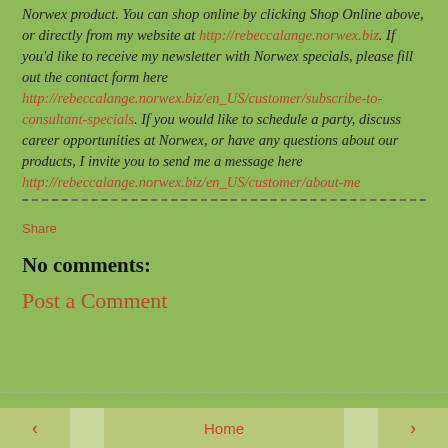Norwex product. You can shop online by clicking Shop Online above, or directly from my website at http://rebeccalange.norwex.biz. If you'd like to receive my newsletter with Norwex specials, please fill out the contact form here http://rebeccalange.norwex.biz/en_US/customer/subscribe-to-consultant-specials. If you would like to schedule a party, discuss career opportunities at Norwex, or have any questions about our products, I invite you to send me a message here http://rebeccalange.norwex.biz/en_US/customer/about-me
Share
No comments:
Post a Comment
< Home >